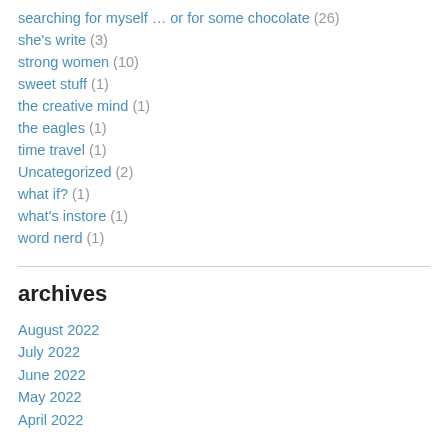searching for myself … or for some chocolate (26)
she's write (3)
strong women (10)
sweet stuff (1)
the creative mind (1)
the eagles (1)
time travel (1)
Uncategorized (2)
what if? (1)
what's instore (1)
word nerd (1)
archives
August 2022
July 2022
June 2022
May 2022
April 2022